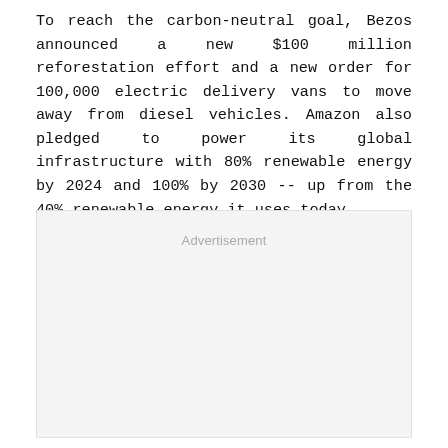To reach the carbon-neutral goal, Bezos announced a new $100 million reforestation effort and a new order for 100,000 electric delivery vans to move away from diesel vehicles. Amazon also pledged to power its global infrastructure with 80% renewable energy by 2024 and 100% by 2030 -- up from the 40% renewable energy it uses today.
[Figure (other): Advertisement placeholder box with light gray background and the word 'Advertisement' centered at the top in gray text.]